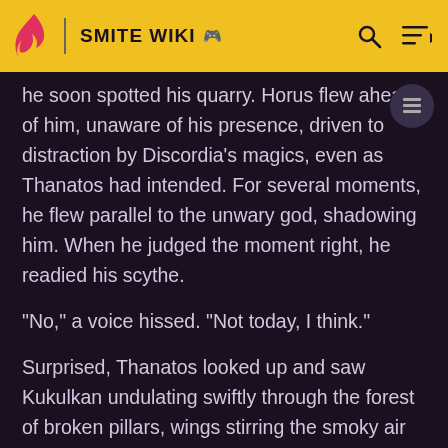SMITE WIKI
he soon spotted his quarry. Horus flew ahead of him, unaware of his presence, driven to distraction by Discordia's magics, even as Thanatos had intended. For several moments, he flew parallel to the unwary god, shadowing him. When he judged the moment right, he readied his scythe.
“No,” a voice hissed. “Not today, I think.”
Surprised, Thanatos looked up and saw Kukulkan undulating swiftly through the forest of broken pillars, wings stirring the smoky air into a whirlwind. Thanatos yelped in the consternation as the winds caught him up and sent him crashing helplessly to the ground below in a flurry of black feathers.